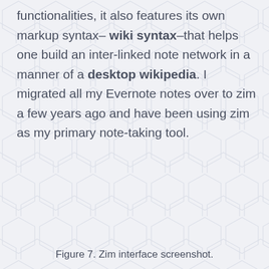functionalities, it also features its own markup syntax– wiki syntax–that helps one build an inter-linked note network in a manner of a desktop wikipedia. I migrated all my Evernote notes over to zim a few years ago and have been using zim as my primary note-taking tool.
Figure 7. Zim interface screenshot.